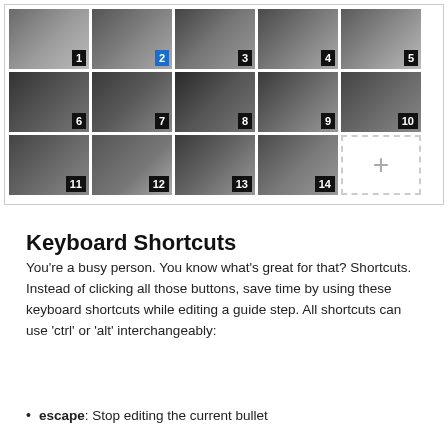[Figure (screenshot): A 3-row grid of 14 numbered laptop repair tutorial video thumbnails (dark grayscale images of laptop internals/hands), with a '+' placeholder cell after thumbnail 14. Thumbnail 2 is highlighted in blue.]
Keyboard Shortcuts
You're a busy person. You know what's great for that? Shortcuts. Instead of clicking all those buttons, save time by using these keyboard shortcuts while editing a guide step. All shortcuts can use 'ctrl' or 'alt' interchangeably:
escape: Stop editing the current bullet